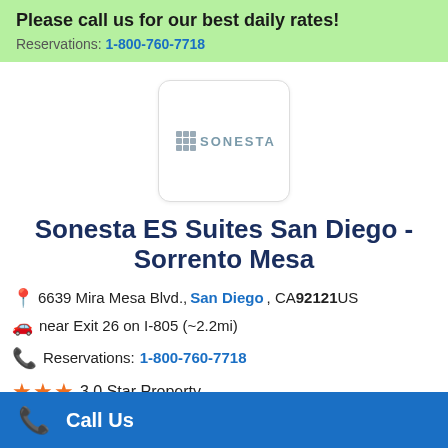Please call us for our best daily rates! Reservations: 1-800-760-7718
[Figure (logo): Sonesta hotel brand logo with grid icon and SONESTA text]
Sonesta ES Suites San Diego - Sorrento Mesa
6639 Mira Mesa Blvd., San Diego, CA 92121 US
near Exit 26 on I-805 (~2.2mi)
Reservations: 1-800-760-7718
3.0 Star Property
Call Us